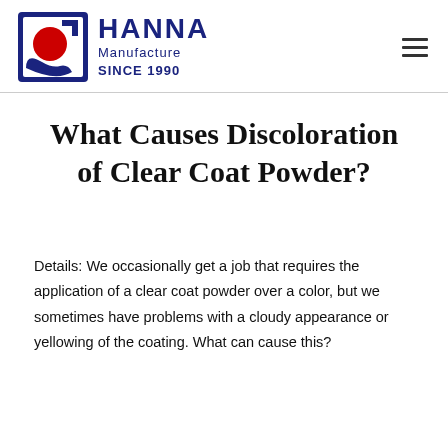[Figure (logo): Hanna Manufacture logo with blue square frame, red circle, blue swoosh, and text 'HANNA Manufacture SINCE 1990']
What Causes Discoloration of Clear Coat Powder?
Details: We occasionally get a job that requires the application of a clear coat powder over a color, but we sometimes have problems with a cloudy appearance or yellowing of the coating. What can cause this?